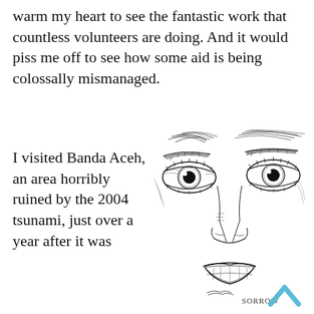warm my heart to see the fantastic work that countless volunteers are doing. And it would piss me off to see how some aid is being colossally mismanaged.
I visited Banda Aceh, an area horribly ruined by the 2004 tsunami, just over a year after it was
[Figure (illustration): Pen-and-ink sketch of a sorrowful human face showing eyes, nose, and lips rendered in dense crosshatching. The word 'SORROW' is written at the bottom right of the sketch.]